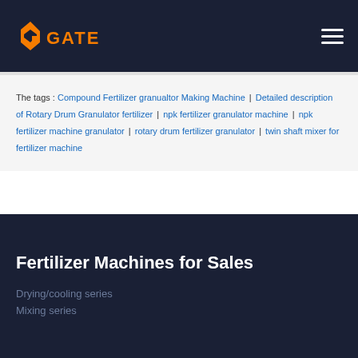GATE
The tags : Compound Fertilizer granualtor Making Machine | Detailed description of Rotary Drum Granulator fertilizer | npk fertilizer granulator machine | npk fertilizer machine granulator | rotary drum fertilizer granulator | twin shaft mixer for fertilizer machine
Fertilizer Machines for Sales
Drying/cooling series
Mixing series